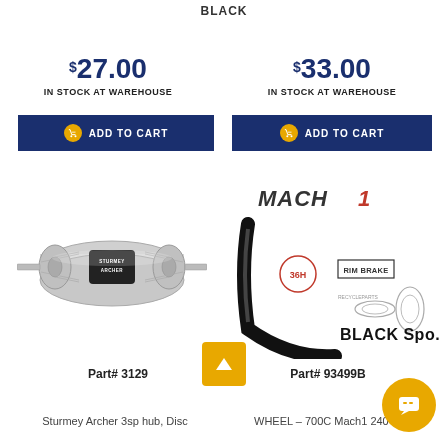BLACK
$27.00
IN STOCK AT WAREHOUSE
$33.00
IN STOCK AT WAREHOUSE
ADD TO CART
ADD TO CART
[Figure (photo): Sturmey Archer 3sp hub, silver disc hub with black center]
[Figure (photo): Mach1 BLACK Spokes wheel rim product image with 36H and RIM BRAKE labels]
Part# 3129
Part# 93499B
Sturmey Archer 3sp hub, Disc
WHEEL – 700C Mach1 240 36H